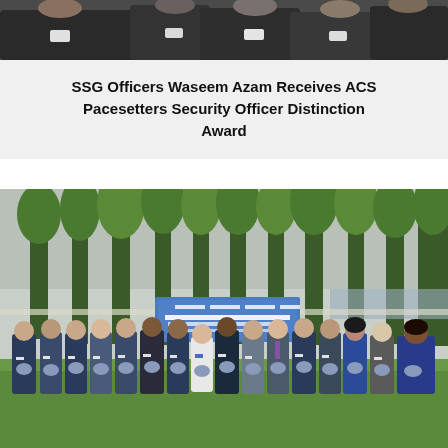[Figure (photo): Top portion of a photo showing people in dark suits from the shoulders up, cropped at the top of the page]
SSG Officers Waseem Azam Receives ACS Pacesetters Security Officer Distinction Award
[Figure (photo): Group photo of approximately 20 people in formal attire standing outdoors on grass in front of trees and a banner, each holding a plaque or award. The setting appears to be a garden or park venue.]